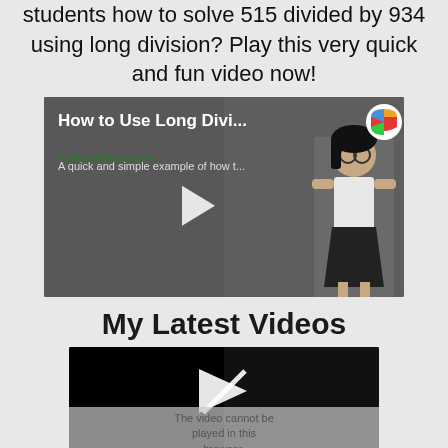students how to solve 515 divided by 934 using long division? Play this very quick and fun video now!
[Figure (screenshot): Video thumbnail for 'How to Use Long Divi...' with subtitle 'A quick and simple example of how t...' showing an animated character and play button]
My Latest Videos
[Figure (screenshot): Video player showing a play button icon. Below it text: 'The video cannot be played in this browser.']